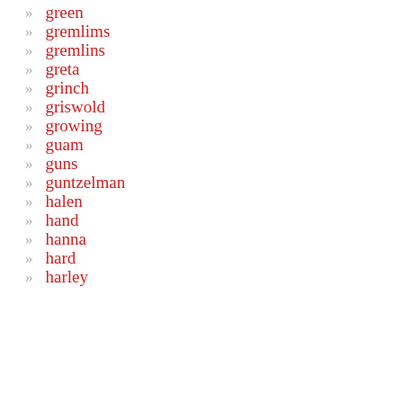green
gremlims
gremlins
greta
grinch
griswold
growing
guam
guns
guntzelman
halen
hand
hanna
hard
harley